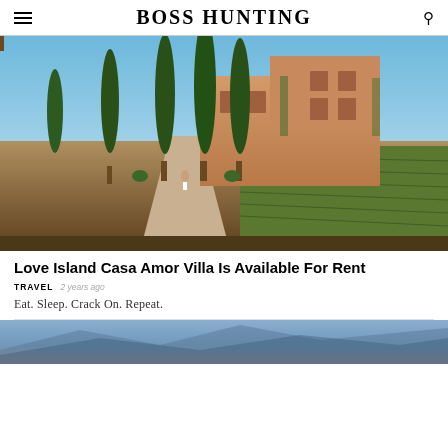BOSS HUNTING
[Figure (photo): Exterior of a Mediterranean-style villa with tall cypress trees lining a gravel driveway, vineyard rows visible on the right, warm golden late-afternoon light on terracotta-toned building]
Love Island Casa Amor Villa Is Available For Rent
TRAVEL  2 years ago
Eat. Sleep. Crack On. Repeat.
[Figure (photo): Partial view of next article image at bottom of page]